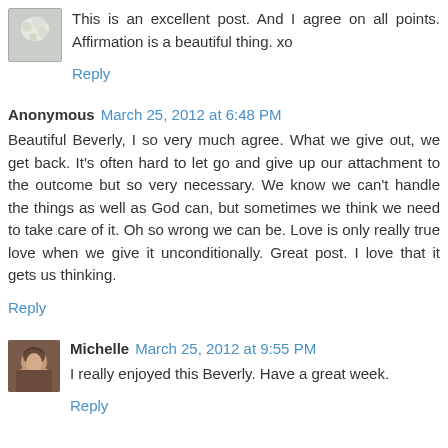[Figure (photo): Small avatar photo of a user, appears to show flowers or foliage]
This is an excellent post. And I agree on all points. Affirmation is a beautiful thing. xo
Reply
Anonymous March 25, 2012 at 6:48 PM
Beautiful Beverly, I so very much agree. What we give out, we get back. It's often hard to let go and give up our attachment to the outcome but so very necessary. We know we can't handle the things as well as God can, but sometimes we think we need to take care of it. Oh so wrong we can be. Love is only really true love when we give it unconditionally. Great post. I love that it gets us thinking.
Reply
[Figure (photo): Small avatar photo of Michelle, appears to show a woman with dark hair]
Michelle March 25, 2012 at 9:55 PM
I really enjoyed this Beverly. Have a great week.
Reply